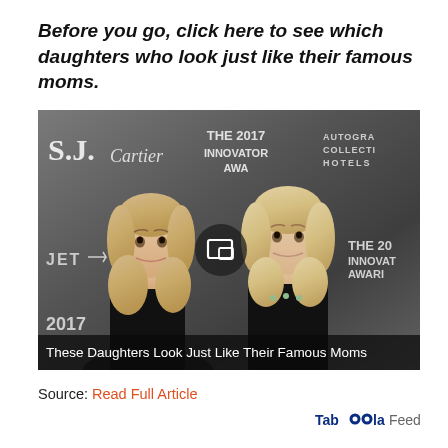Before you go, click here to see which daughters who look just like their famous moms.
[Figure (photo): Photo of two blonde women at The 2017 Innovator Awards red carpet event. Background shows logos for S.J., Cartier, The 2017 Innovator Awards, Autograph Collection Hotels, and JET. A video play icon is overlaid in the center. Caption reads: These Daughters Look Just Like Their Famous Moms]
Source: Read Full Article
Taboola Feed